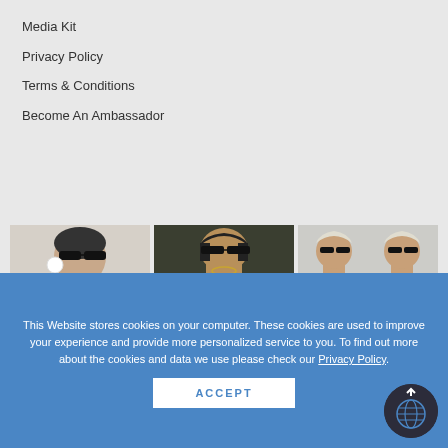Media Kit
Privacy Policy
Terms & Conditions
Become An Ambassador
[Figure (photo): Three fashion photos: a model in black outfit with sunglasses and white earrings; a model in black and white striped fur coat with sunglasses against a dark background; two models in black and white striped dresses with sunglasses]
This Website stores cookies on your computer. These cookies are used to improve your experience and provide more personalized service to you. To find out more about the cookies and data we use please check our Privacy Policy.
ACCEPT